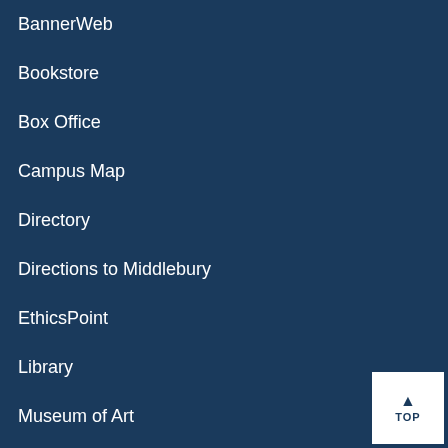BannerWeb
Bookstore
Box Office
Campus Map
Directory
Directions to Middlebury
EthicsPoint
Library
Museum of Art
▲ TOP